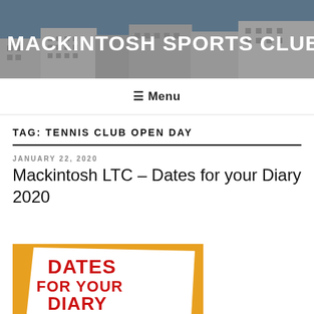MACKINTOSH SPORTS CLUB
≡ Menu
TAG: TENNIS CLUB OPEN DAY
JANUARY 22, 2020
Mackintosh LTC – Dates for your Diary 2020
[Figure (illustration): Dates for your Diary promotional image with yellow background and red bold text reading DATES FOR YOUR DIARY on a white torn-page graphic]